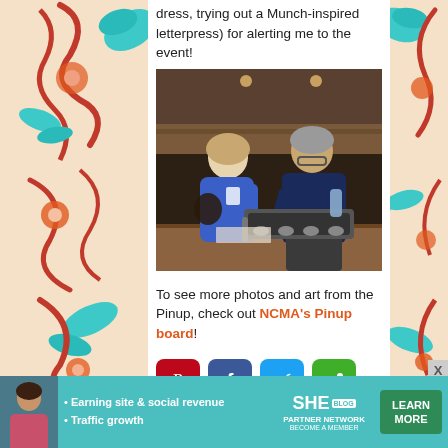dress, trying out a Munch-inspired letterpress) for alerting me to the event!
[Figure (photo): Two people — a woman in a blue dress with a lanyard badge and a man in a dark blue shirt — leaning over a letterpress machine on a wooden table in a dimly lit room.]
To see more photos and art from the Pinup, check out NCMA's Pinup board!
[Figure (infographic): Social sharing icons row: Pinterest (red), Facebook (blue), Twitter (light blue), ShareThis (green)]
[Figure (infographic): SHE Partner Network advertisement banner with person photo, bullet points 'Earning site & social revenue' and 'Traffic growth', SHE logo, PARTNER NETWORK / BECOME A MEMBER text, and LEARN MORE button.]